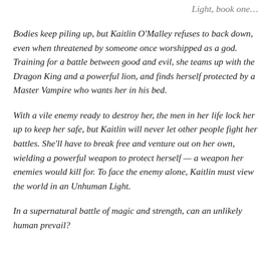Light, book one…
Bodies keep piling up, but Kaitlin O'Malley refuses to back down, even when threatened by someone once worshipped as a god. Training for a battle between good and evil, she teams up with the Dragon King and a powerful lion, and finds herself protected by a Master Vampire who wants her in his bed.
With a vile enemy ready to destroy her, the men in her life lock her up to keep her safe, but Kaitlin will never let other people fight her battles. She'll have to break free and venture out on her own, wielding a powerful weapon to protect herself — a weapon her enemies would kill for. To face the enemy alone, Kaitlin must view the world in an Unhuman Light.
In a supernatural battle of magic and strength, can an unlikely human prevail?